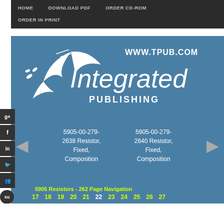HOME   DOWNLOAD PDF   ORDER CD-ROM   ORDER IN PRINT
[Figure (logo): Integrated Publishing logo with bird graphic and text: WWW.TPUB.COM Integrated PUBLISHING]
5905-00-279-2638 Resistor, Fixed, Composition
5905-00-279-2640 Resistor, Fixed, Composition
5905 Resistors - 262 Page Navigation
17 18 19 20 21 22 23 24 25 26 27